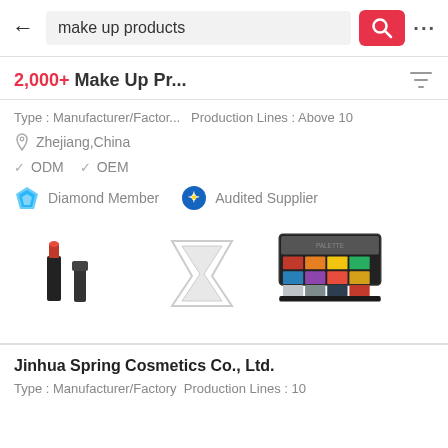[Figure (screenshot): Mobile app search bar with back arrow, search field showing 'make up products', red search button with magnifier icon, and three dots menu]
2,000+ Make Up Pr...
Type : Manufacturer/Factor...  Production Lines : Above 10
Zhejiang,China
ODM  OEM
Diamond Member   Audited Supplier
[Figure (photo): Three product images: lipstick set, hourglass placeholder, and eyeshadow palette]
Jinhua Spring Cosmetics Co., Ltd.
Type : Manufacturer/Factory  Production Lines : 10